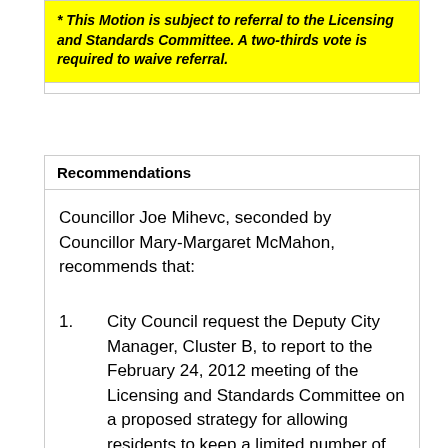* This Motion is subject to referral to the Licensing and Standards Committee. A two-thirds vote is required to waive referral.
Recommendations
Councillor Joe Mihevc, seconded by Councillor Mary-Margaret McMahon, recommends that:
1.          City Council request the Deputy City Manager, Cluster B, to report to the February 24, 2012 meeting of the Licensing and Standards Committee on a proposed strategy for allowing residents to keep a limited number of hens in their